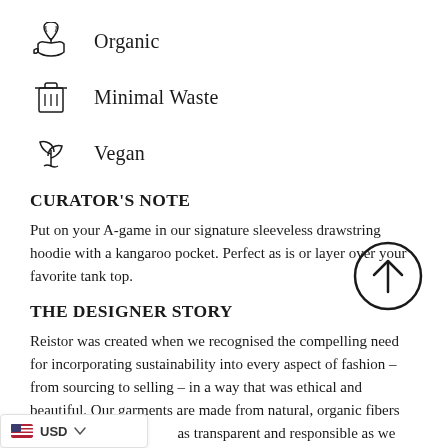Organic
Minimal Waste
Vegan
CURATOR'S NOTE
Put on your A-game in our signature sleeveless drawstring hoodie with a kangaroo pocket. Perfect as is or layer over your favorite tank top.
THE DESIGNER STORY
Reistor was created when we recognised the compelling need for incorporating sustainability into every aspect of fashion – from sourcing to selling – in a way that was ethical and beautiful. Our garments are made from natural, organic fibers like hemp and we as transparent and responsible as we can through of the process. We believe in easy styles that are